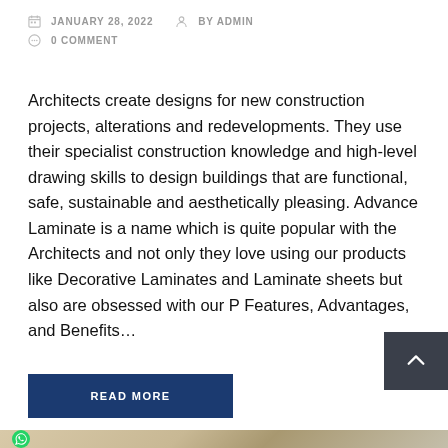JANUARY 28, 2022   BY ADMIN   0 COMMENT
Architects create designs for new construction projects, alterations and redevelopments. They use their specialist construction knowledge and high-level drawing skills to design buildings that are functional, safe, sustainable and aesthetically pleasing. Advance Laminate is a name which is quite popular with the Architects and not only they love using our products like Decorative Laminates and Laminate sheets but also are obsessed with our P Features, Advantages, and Benefits...
READ MORE
[Figure (photo): Bottom portion of a webpage showing a WhatsApp icon on the left and a partial image of an interior with wood paneling and a plant on the right.]